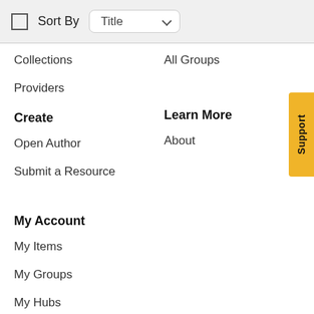Sort By  Title
Collections
All Groups
Providers
Create
Learn More
Open Author
About
Submit a Resource
My Account
My Items
My Groups
My Hubs
Help Centre
Powered By